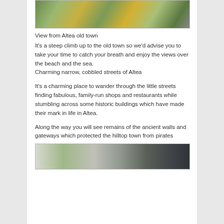[Figure (photo): View from Altea old town showing plants with yellow fruits (prickly pear cactus) and pink flowers against a building]
View from Altea old town
It's a steep climb up to the old town so we'd advise you to take your time to catch your breath and enjoy the views over the beach and the sea.
Charming narrow, cobbled streets of Altea
It's a charming place to wander through the little streets finding fabulous, family-run shops and restaurants while stumbling across some historic buildings which have made their mark in life in Altea.
Along the way you will see remains of the ancient walls and gateways which protected the hilltop town from pirates
[Figure (photo): Charming narrow, cobbled streets of Altea with white buildings and ironwork]